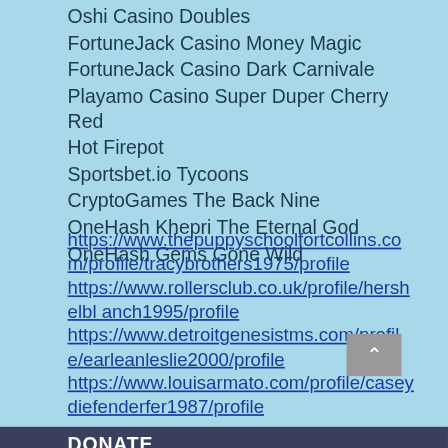Oshi Casino Doubles
FortuneJack Casino Money Magic
FortuneJack Casino Dark Carnivale
Playamo Casino Super Duper Cherry Red
Hot Firepot
Sportsbet.io Tycoons
CryptoGames The Back Nine
OneHash Khepri The Eternal God
OneHash Gems Gone Wild
https://www.thepuppyschoolfortcollins.com/profile/tracybrothers1975/profile
https://www.rollersclub.co.uk/profile/hershelbl anch1995/profile
https://www.detroitgenesistms.com/profile/earleanleslie2000/profile
https://www.louisarmato.com/profile/caseydiefenderfer1987/profile
DONATE